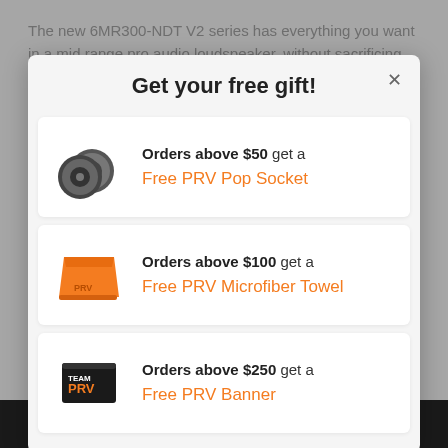The new 6MR300-NDT V2 series has everything you want in a mid range pro audio loudspeaker, without sacrificing performance we have designed a shallow and versatile footprint with ...
Get your free gift!
Orders above $50 get a Free PRV Pop Socket
Orders above $100 get a Free PRV Microfiber Towel
Orders above $250 get a Free PRV Banner